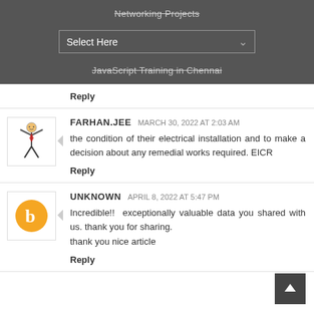Networking Projects
Select Here
JavaScript Training in Chennai
Reply
FARHAN.JEE  MARCH 30, 2022 AT 2:03 AM
the condition of their electrical installation and to make a decision about any remedial works required. EICR
Reply
UNKNOWN  APRIL 8, 2022 AT 5:47 PM
Incredible!!  exceptionally valuable data you shared with us. thank you for sharing.
thank you nice article
Reply